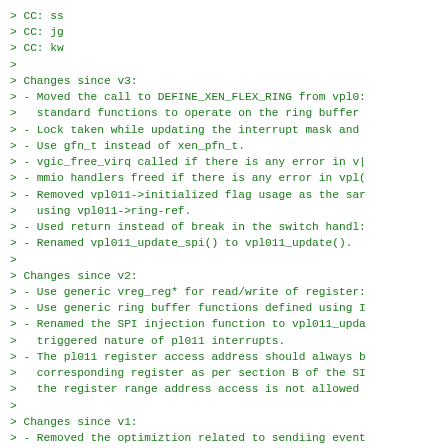> CC: ss
> CC: jg
> CC: kw
>
> Changes since v3:
> - Moved the call to DEFINE_XEN_FLEX_RING from vpl0:
>   standard functions to operate on the ring buffer
> - Lock taken while updating the interrupt mask and
> - Use gfn_t instead of xen_pfn_t.
> - vgic_free_virq called if there is any error in v|
> - mmio handlers freed if there is any error in vpl(
> - Removed vpl011->initialized flag usage as the sar
>   using vpl011->ring-ref.
> - Used return instead of break in the switch handl:
> - Renamed vpl011_update_spi() to vpl011_update().
>
> Changes since v2:
> - Use generic vreg_reg* for read/write of register:
> - Use generic ring buffer functions defined using I
> - Renamed the SPI injection function to vpl011_upda
>   triggered nature of pl011 interrupts.
> - The pl011 register access address should always b
>   corresponding register as per section B of the SI
>   the register range address access is not allowed
>
> Changes since v1:
> - Removed the optimiztion related to sendiing event
> - Use local variables as ring buffer indices while
>
>  tools/console/daemon/io.c          |   2 +-
>  xen/arch/arm/Kconfig              |   5 +